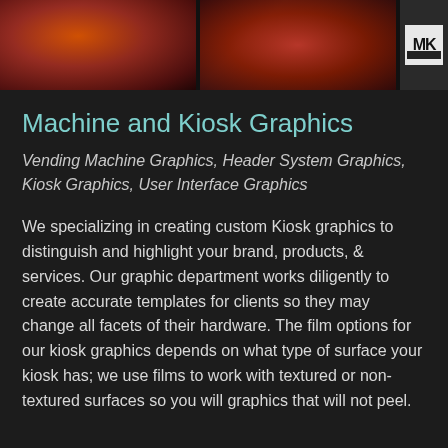[Figure (photo): Three image panels side by side at top: two dark red/maroon colored images showing kiosk graphics, and a third panel with an MK logo on light background]
Machine and Kiosk Graphics
Vending Machine Graphics, Header System Graphics, Kiosk Graphics, User Interface Graphics
We specializing in creating custom Kiosk graphics to distinguish and highlight your brand, products, & services. Our graphic department works diligently to create accurate templates for clients so they may change all facets of their hardware. The film options for our kiosk graphics depends on what type of surface your kiosk has; we use films to work with textured or non-textured surfaces so you will graphics that will not peel.